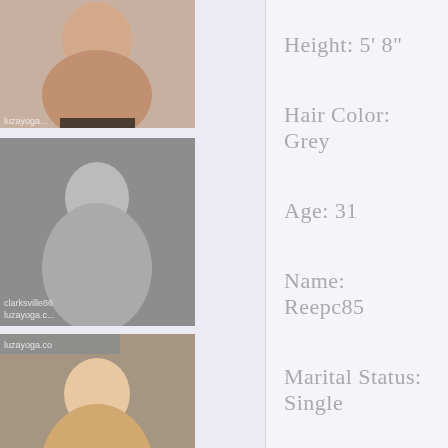[Figure (photo): Photo 1 - profile image top]
Height: 5' 8"
[Figure (photo): Photo 2 - black and white profile image with watermark clarksville86]
Hair Color: Grey
Age: 31
[Figure (photo): Photo 3 - profile image with watermark luzayoga.co]
Name: Reepc85
Marital Status: Single
[Figure (photo): Photo 4 - partial profile image at bottom with watermark luzayoga]